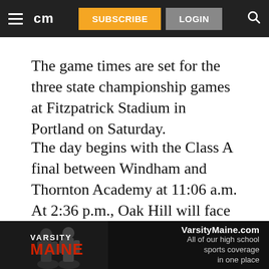cm | SUBSCRIBE | LOGIN
The game times are set for the three state championship games at Fitzpatrick Stadium in Portland on Saturday.
The day begins with the Class A final between Windham and Thornton Academy at 11:06 a.m. At 2:36 p.m., Oak Hill will face Maine Central Institute in the Class D final. The last game of the day will be the Class B championship between Brunswick and Marshwood, and will kick off at 6:06 p.m.
[Figure (other): Varsity Maine advertisement banner showing football players and text: VarsityMaine.com All of our high school sports coverage in one place]